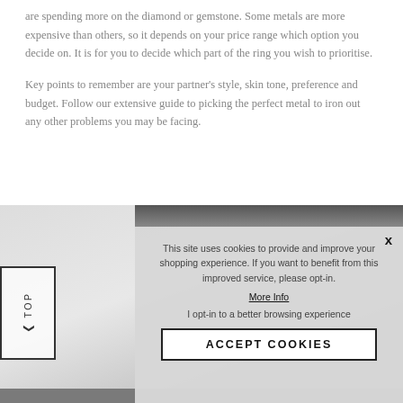are spending more on the diamond or gemstone. Some metals are more expensive than others, so it depends on your price range which option you decide on. It is for you to decide which part of the ring you wish to prioritise.
Key points to remember are your partner's style, skin tone, preference and budget. Follow our extensive guide to picking the perfect metal to iron out any other problems you may be facing.
[Figure (photo): Grayscale photo of a ring or jewelry item, partially obscured by cookie consent overlay. Dark gradient bar at the top right portion of the image.]
This site uses cookies to provide and improve your shopping experience. If you want to benefit from this improved service, please opt-in.
More Info
I opt-in to a better browsing experience
ACCEPT COOKIES